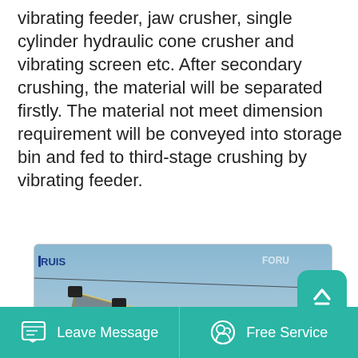vibrating feeder, jaw crusher, single cylinder hydraulic cone crusher and vibrating screen etc. After secondary crushing, the material will be separated firstly. The material not meet dimension requirement will be conveyed into storage bin and fed to third-stage crushing by vibrating feeder.
[Figure (photo): Outdoor industrial crushing plant with conveyor belt systems on metal framework trusses, aggregate piles in background, and a large blue/green crusher machine on the right. FORUI branding visible. Blue sky background.]
Leave Message   Free Service